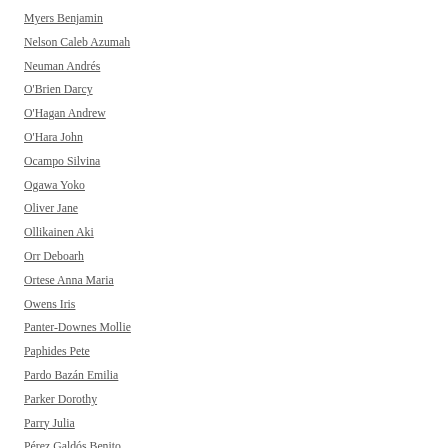Myers Benjamin
Nelson Caleb Azumah
Neuman Andrés
O'Brien Darcy
O'Hagan Andrew
O'Hara John
Ocampo Silvina
Ogawa Yoko
Oliver Jane
Ollikainen Aki
Orr Deboarh
Ortese Anna Maria
Owens Iris
Panter-Downes Mollie
Paphides Pete
Pardo Bazán Emilia
Parker Dorothy
Parry Julia
Pérez Galdós Benito